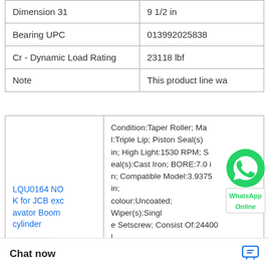| Property | Value |
| --- | --- |
| Dimension 31 | 9 1/2 in |
| Bearing UPC | 013992025838 |
| Cr - Dynamic Load Rating | 23118 lbf |
| Note | This product line wa |
| Product | Description |
| --- | --- |
| LQU0164 NOK for JCB excavator Boom cylinder | Condition:Taper Roller; Material:Triple Lip; Piston Seal(s):8 in; High Light:1530 RPM; Seal(s):Cast Iron; BORE:7.0 in; Compatible Model:3.9375 in; colour:Uncoated; Wiper(s):Single Setscrew; Consist Of:24400 lb; manufacturer catalog number:023312; radial static load capacity:154000 lb; oute |
0 in; Material:-22 nsist Of:4.5000 i